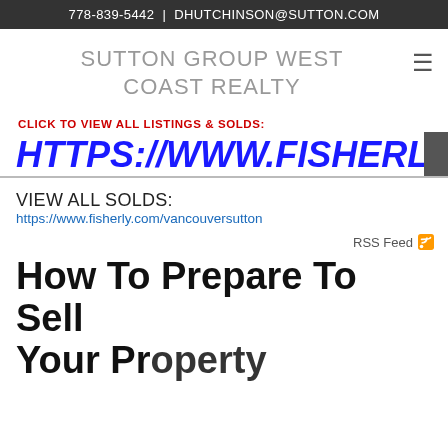778-839-5442 | DHUTCHINSON@SUTTON.COM
SUTTON GROUP WEST COAST REALTY
CLICK TO VIEW ALL LISTINGS & SOLDS:
HTTPS://WWW.FISHERLY.COM/
VIEW ALL SOLDS:
https://www.fisherly.com/vancouversutton
RSS Feed
How To Prepare To Sell Your Property